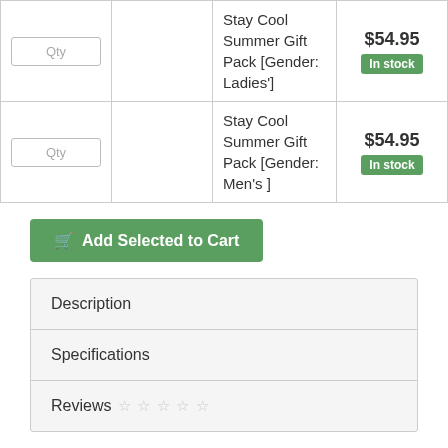| Qty |  | Product | Price |
| --- | --- | --- | --- |
| Qty |  | Stay Cool Summer Gift Pack [Gender: Ladies'] | $54.95 In stock |
| Qty |  | Stay Cool Summer Gift Pack [Gender: Men's ] | $54.95 In stock |
Add Selected to Cart
Description
Specifications
Reviews ☆ ☆ ☆ ☆ ☆
More From This Category